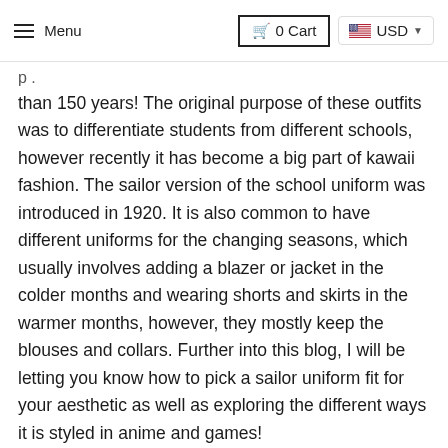≡ Menu   🛒 0 Cart   USD ▾
than 150 years! The original purpose of these outfits was to differentiate students from different schools, however recently it has become a big part of kawaii fashion. The sailor version of the school uniform was introduced in 1920. It is also common to have different uniforms for the changing seasons, which usually involves adding a blazer or jacket in the colder months and wearing shorts and skirts in the warmer months, however, they mostly keep the blouses and collars. Further into this blog, I will be letting you know how to pick a sailor uniform fit for your aesthetic as well as exploring the different ways it is styled in anime and games!
SAILOR UNIFORM IN SAILOR MOON: